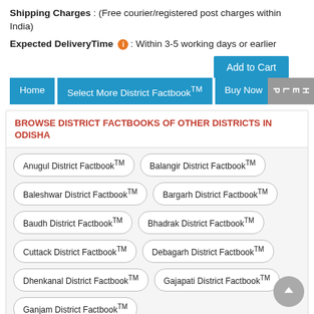Shipping Charges : (Free courier/registered post charges within India)
Expected DeliveryTime ⓘ: Within 3-5 working days or earlier
Add to Cart
Home | Select More District Factbook™ | Buy Now | HELP
BROWSE DISTRICT FACTBOOKS OF OTHER DISTRICTS IN ODISHA
Anugul District Factbook™
Balangir District Factbook™
Baleshwar District Factbook™
Bargarh District Factbook™
Baudh District Factbook™
Bhadrak District Factbook™
Cuttack District Factbook™
Debagarh District Factbook™
Dhenkanal District Factbook™
Gajapati District Factbook™
Ganjam District Factbook™